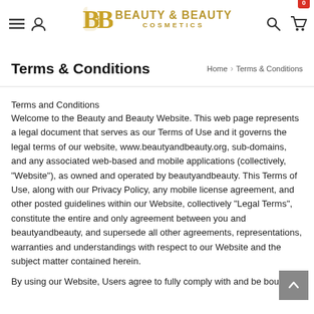Beauty & Beauty Cosmetics — navigation header with logo, hamburger, user, search, cart icons
Terms & Conditions
Home > Terms & Conditions
Terms and Conditions
Welcome to the Beauty and Beauty Website. This web page represents a legal document that serves as our Terms of Use and it governs the legal terms of our website, www.beautyandbeauty.org, sub-domains, and any associated web-based and mobile applications (collectively, "Website"), as owned and operated by beautyandbeauty. This Terms of Use, along with our Privacy Policy, any mobile license agreement, and other posted guidelines within our Website, collectively "Legal Terms", constitute the entire and only agreement between you and beautyandbeauty, and supersede all other agreements, representations, warranties and understandings with respect to our Website and the subject matter contained herein.
By using our Website, Users agree to fully comply with and be bound by